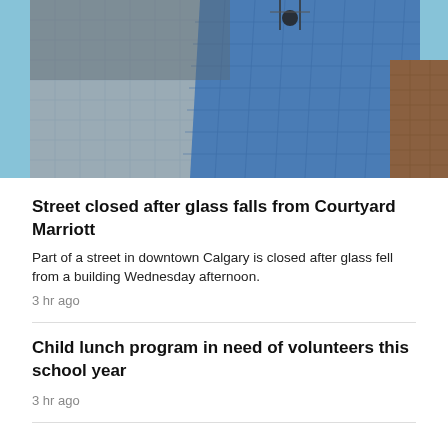[Figure (photo): Upward-angled photo of a tall glass-facade building (Courtyard Marriott) with a worker suspended on ropes near the top, blue sky in background, brick building visible at right edge]
Street closed after glass falls from Courtyard Marriott
Part of a street in downtown Calgary is closed after glass fell from a building Wednesday afternoon.
3 hr ago
Child lunch program in need of volunteers this school year
3 hr ago